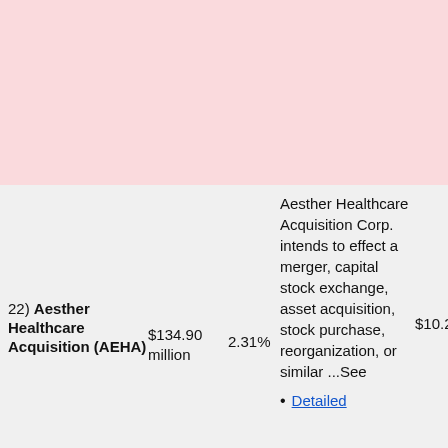| Company | Amount | % | Description | Price | Range |
| --- | --- | --- | --- | --- | --- |
| 22) Aesther Healthcare Acquisition (AEHA) | $134.90 million | 2.31% | Aesther Healthcare Acquisition Corp. intends to effect a merger, capital stock exchange, asset acquisition, stock purchase, reorganization, or similar ...See • Detailed | $10.20 | $9.95 - $10.60 |